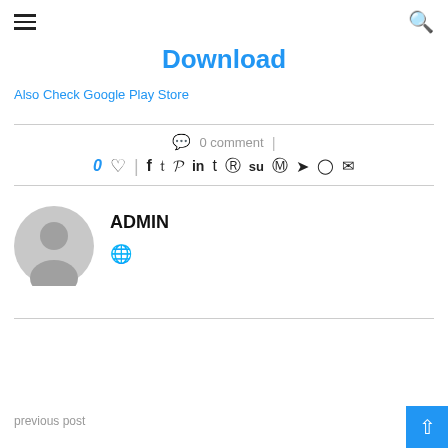☰  🔍
Download
Also Check Google Play Store
0 comment
0 ♡  f  t  p  in  t  reddit  stumble  whatsapp  telegram  line  mail
ADMIN
[Figure (illustration): Gray circular avatar placeholder image with silhouette of a person]
🌐
previous post